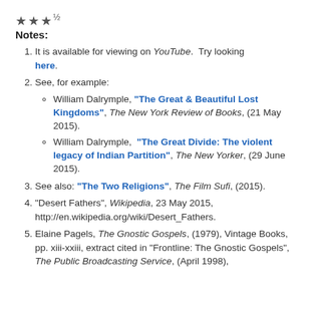★★★½
Notes:
It is available for viewing on YouTube. Try looking here.
See, for example:
William Dalrymple, "The Great & Beautiful Lost Kingdoms", The New York Review of Books, (21 May 2015).
William Dalrymple, "The Great Divide: The violent legacy of Indian Partition", The New Yorker, (29 June 2015).
See also: "The Two Religions", The Film Sufi, (2015).
"Desert Fathers", Wikipedia, 23 May 2015, http://en.wikipedia.org/wiki/Desert_Fathers.
Elaine Pagels, The Gnostic Gospels, (1979), Vintage Books, pp. xiii-xxiii, extract cited in "Frontline: The Gnostic Gospels", The Public Broadcasting Service, (April 1998),